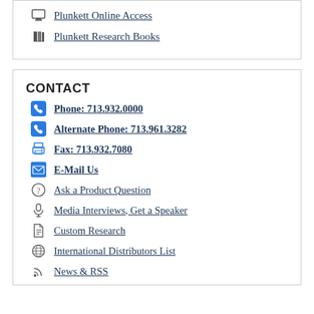Plunkett Online Access
Plunkett Research Books
CONTACT
Phone: 713.932.0000
Alternate Phone: 713.961.3282
Fax: 713.932.7080
E-Mail Us
Ask a Product Question
Media Interviews, Get a Speaker
Custom Research
International Distributors List
News & RSS